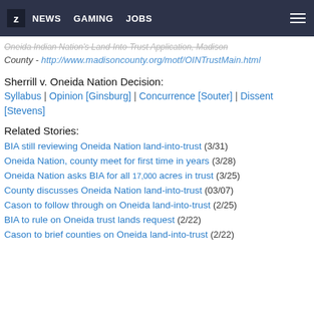Z NEWS GAMING JOBS
Oneida Indian Nation's Land-Into-Trust Application, Madison County - http://www.madisoncounty.org/motf/OINTrustMain.html
Sherrill v. Oneida Nation Decision:
Syllabus | Opinion [Ginsburg] | Concurrence [Souter] | Dissent [Stevens]
Related Stories:
BIA still reviewing Oneida Nation land-into-trust (3/31)
Oneida Nation, county meet for first time in years (3/28)
Oneida Nation asks BIA for all 17,000 acres in trust (3/25)
County discusses Oneida Nation land-into-trust (03/07)
Cason to follow through on Oneida land-into-trust (2/25)
BIA to rule on Oneida trust lands request (2/22)
Cason to brief counties on Oneida land-into-trust (2/22)